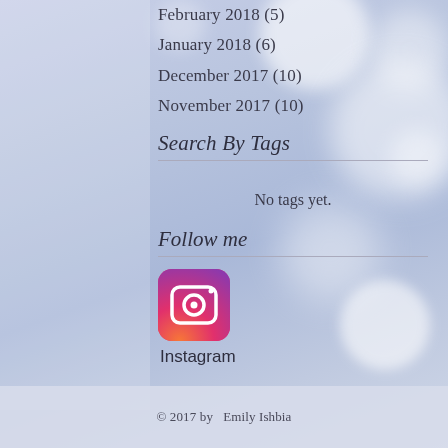February 2018 (5)
January 2018 (6)
December 2017 (10)
November 2017 (10)
Search By Tags
No tags yet.
Follow me
[Figure (logo): Instagram logo icon — pink/magenta rounded square with camera outline in white]
Instagram
© 2017 by  Emily Ishbia